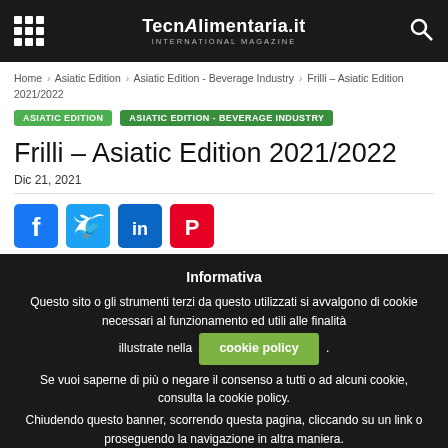TecnAlimentaria.it - International Magazine
Home › Asiatic Edition › Asiatic Edition - Beverage Industry › Frilli – Asiatic Edition 2021/2022
ASIATIC EDITION   ASIATIC EDITION - BEVERAGE INDUSTRY
Frilli – Asiatic Edition 2021/2022
Dic 21, 2021
[Figure (other): Social share icons: Facebook, Twitter, LinkedIn, Pinterest]
Informativa
Questo sito o gli strumenti terzi da questo utilizzati si avvalgono di cookie necessari al funzionamento ed utili alle finalità illustrate nella cookie policy .
Se vuoi saperne di più o negare il consenso a tutti o ad alcuni cookie, consulta la cookie policy.
Chiudendo questo banner, scorrendo questa pagina, cliccando su un link o proseguendo la navigazione in altra maniera.